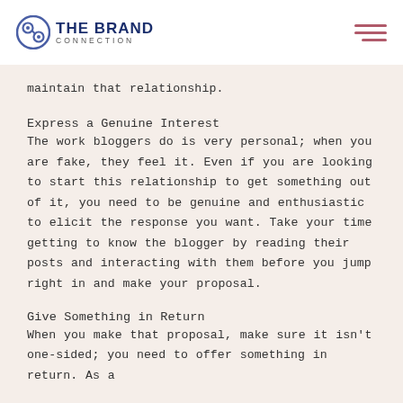THE BRAND CONNECTION
maintain that relationship.
Express a Genuine Interest
The work bloggers do is very personal; when you are fake, they feel it. Even if you are looking to start this relationship to get something out of it, you need to be genuine and enthusiastic to elicit the response you want. Take your time getting to know the blogger by reading their posts and interacting with them before you jump right in and make your proposal.
Give Something in Return
When you make that proposal, make sure it isn't one-sided; you need to offer something in return. As a